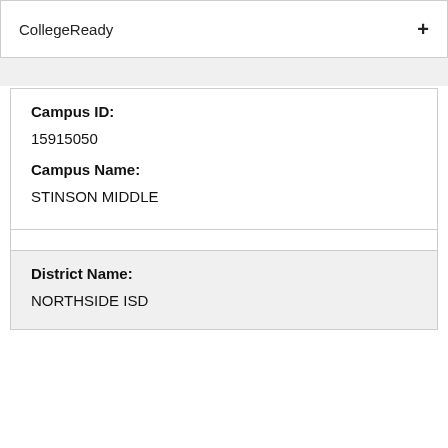CollegeReady +
| Campus ID: |  |
| 15915050 |  |
| Campus Name: |  |
| STINSON MIDDLE |  |
| District Name: |  |
| NORTHSIDE ISD |  |